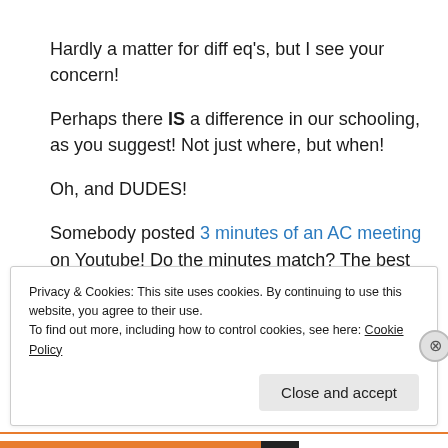Hardly a matter for diff eq's, but I see your concern!
Perhaps there IS a difference in our schooling, as you suggest! Not just where, but when!
Oh, and DUDES!
Somebody posted 3 minutes of an AC meeting on Youtube! Do the minutes match? The best part is at 3:11!
Privacy & Cookies: This site uses cookies. By continuing to use this website, you agree to their use.
To find out more, including how to control cookies, see here: Cookie Policy